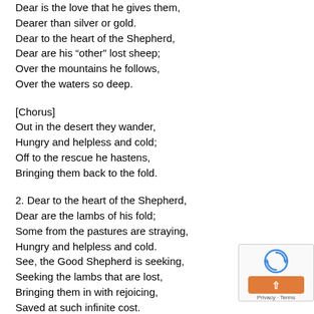Dear is the love that he gives them,
Dearer than silver or gold.
Dear to the heart of the Shepherd,
Dear are his “other” lost sheep;
Over the mountains he follows,
Over the waters so deep.
[Chorus]
Out in the desert they wander,
Hungry and helpless and cold;
Off to the rescue he hastens,
Bringing them back to the fold.
2. Dear to the heart of the Shepherd,
Dear are the lambs of his fold;
Some from the pastures are straying,
Hungry and helpless and cold.
See, the Good Shepherd is seeking,
Seeking the lambs that are lost,
Bringing them in with rejoicing,
Saved at such infinite cost.